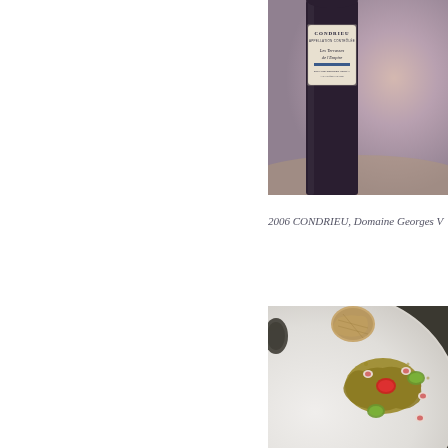[Figure (photo): Close-up of a wine bottle label showing 'CONDRIEU' appellation text and script lettering 'Les Terrasses de l'Empire' on a cream label, dark bottle, blurred warm background]
2006 CONDRIEU, Domaine Georges V
[Figure (photo): Fine dining plate shot from above showing an elegantly plated dish on a white round plate: a golden-brown sauce pool with a red center element, green herb quenelles, thinly sliced radishes, and a textured round bread or amuse-bouche on the rim, earthy dark background]